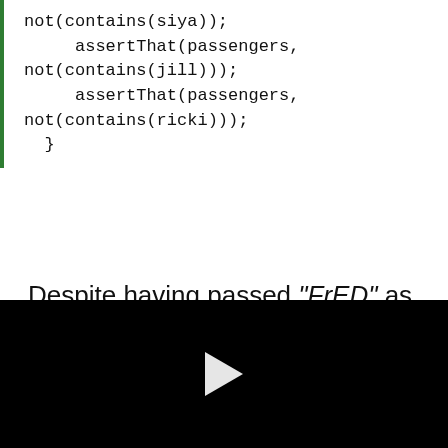not(contains(siya));
    assertThat(passengers, not(contains(jill)));
    assertThat(passengers, not(contains(ricki)));
}
Despite having passed "FrED" as the argument, our returned list of passengers contains a Passenger with the firstName as "Fred". Clearly, with the help of the IgnoreCase keyword, we have achieved a case-insensitive match.
[Figure (other): Black video player area with a white play button triangle in the center]